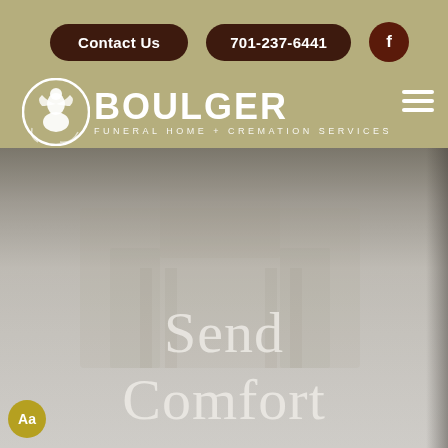Contact Us | 701-237-6441 | Facebook
[Figure (logo): Boulger Funeral Home + Cremation Services logo with circular icon featuring a dove/figure silhouette in white on dark background, beside large white BOULGER text and smaller subtitle text]
Send Comfort